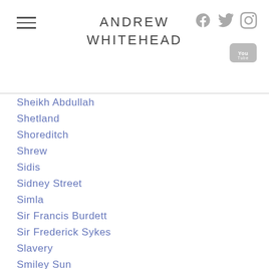ANDREW WHITEHEAD
Sheikh Abdullah
Shetland
Shoreditch
Shrew
Sidis
Sidney Street
Simla
Sir Francis Burdett
Sir Frederick Sykes
Slavery
Smiley Sun
Sobha Singh
Socialist Worker
South Africa
Southall
Spanish Civil War